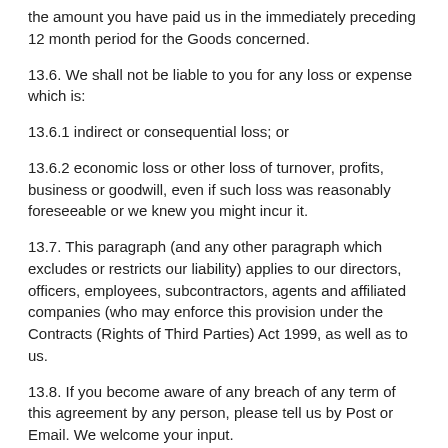the amount you have paid us in the immediately preceding 12 month period for the Goods concerned.
13.6. We shall not be liable to you for any loss or expense which is:
13.6.1 indirect or consequential loss; or
13.6.2 economic loss or other loss of turnover, profits, business or goodwill, even if such loss was reasonably foreseeable or we knew you might incur it.
13.7. This paragraph (and any other paragraph which excludes or restricts our liability) applies to our directors, officers, employees, subcontractors, agents and affiliated companies (who may enforce this provision under the Contracts (Rights of Third Parties) Act 1999, as well as to us.
13.8. If you become aware of any breach of any term of this agreement by any person, please tell us by Post or Email. We welcome your input.